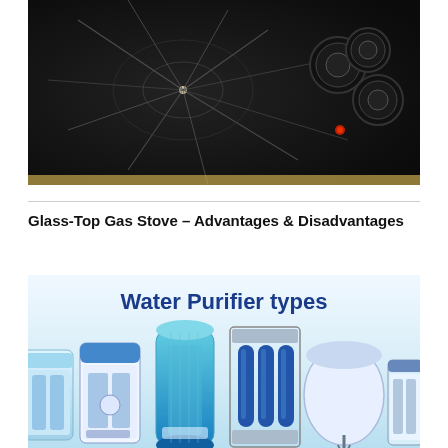[Figure (photo): A cracked black glass-top gas stove with knobs visible on the right side. The glass surface shows cracks radiating from a central impact point.]
Glass-Top Gas Stove – Advantages & Disadvantages
[Figure (photo): An infographic showing various types of water purifiers lined up side by side on a light blue background with the title 'Water Purifier types' in dark blue text at the top. Purifier units include RO, UV, and other types shown as product images.]